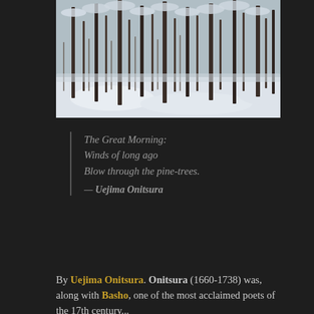[Figure (photo): A winter forest scene with tall pine trees covered in snow, white snowy ground, dark background on sides]
The Great Morning:
Winds of long ago
Blow through the pine-trees.
— Uejima Onitsura
By Uejima Onitsura. Onitsura (1660-1738) was, along with Basho, one of the most acclaimed poets of the 17th century...